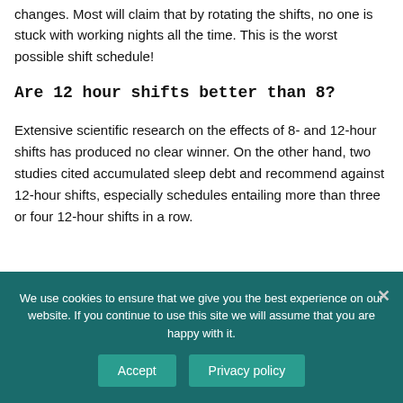changes. Most will claim that by rotating the shifts, no one is stuck with working nights all the time. This is the worst possible shift schedule!
Are 12 hour shifts better than 8?
Extensive scientific research on the effects of 8- and 12-hour shifts has produced no clear winner. On the other hand, two studies cited accumulated sleep debt and recommend against 12-hour shifts, especially schedules entailing more than three or four 12-hour shifts in a row.
We use cookies to ensure that we give you the best experience on our website. If you continue to use this site we will assume that you are happy with it.